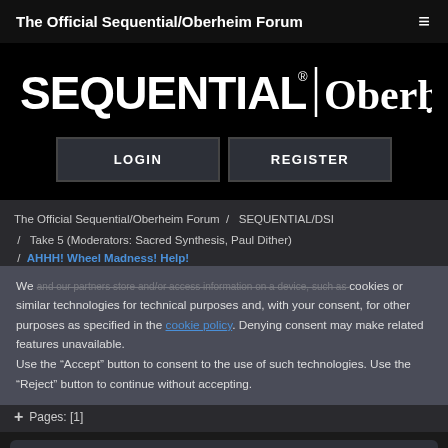The Official Sequential/Oberheim Forum
[Figure (logo): SEQUENTIAL | Oberheim logo in white on black background]
LOGIN   REGISTER
The Official Sequential/Oberheim Forum / SEQUENTIAL/DSI / Take 5 (Moderators: Sacred Synthesis, Paul Dither) / AHHH! Wheel Madness! Help!
We and our partners store and/or access information on a device, such as cookies or similar technologies for technical purposes and, with your consent, for other purposes as specified in the cookie policy. Denying consent may make related features unavailable.
Use the “Accept” button to consent to the use of such technologies. Use the “Reject” button to continue without accepting.
Pages: [1]
AHHH! Wheel Madness! Help!
6 Replies   1200 Views